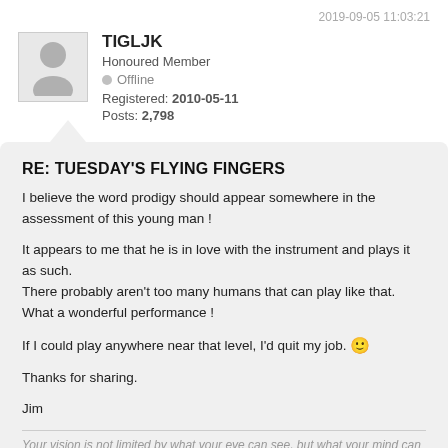2019-09-05 11:03:21
[Figure (illustration): Forum user avatar placeholder — grey silhouette of a person on light grey background]
TIGLJK
Honoured Member
Offline
Registered: 2010-05-11
Posts: 2,798
RE: TUESDAY'S FLYING FINGERS
I believe the word prodigy should appear somewhere in the assessment of this young man !
It appears to me that he is in love with the instrument and plays it as such.
There probably aren't too many humans that can play like that.
What a wonderful performance !
If I could play anywhere near that level, I'd quit my job. 🙂
Thanks for sharing.
Jim
Your vision is not limited by what your eye can see, but what your mind can imagine.